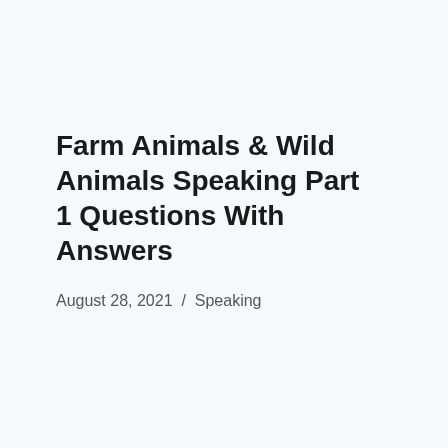Farm Animals & Wild Animals Speaking Part 1 Questions With Answers
August 28, 2021  /  Speaking